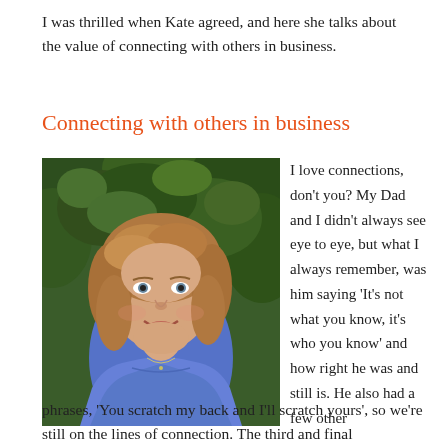I was thrilled when Kate agreed, and here she talks about the value of connecting with others in business.
Connecting with others in business
[Figure (photo): Portrait photo of a woman with curly auburn hair wearing a blue sleeveless top, smiling, with green foliage in the background.]
I love connections, don't you? My Dad and I didn't always see eye to eye, but what I always remember, was him saying 'It's not what you know, it's who you know' and how right he was and still is. He also had a few other phrases, 'You scratch my back and I'll scratch yours', so we're still on the lines of connection. The third and final
phrases, 'You scratch my back and I'll scratch yours', so we're still on the lines of connection. The third and final